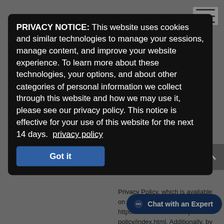PRIVACY NOTICE: This website uses cookies and similar technologies to manage your sessions, manage content, and improve your website experience. To learn more about these technologies, your options, and about other categories of personal information we collect through this website and how we may use it, please see our privacy policy. This notice is effective for your use of this website for the next 14 days.  privacy policy
Got it
Privacy Policy, which is available on the website located at https://www.firstam.com/privacy policy/index.html. Additionally, by